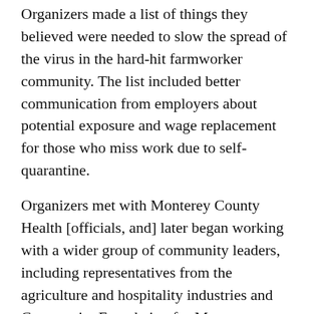Organizers made a list of things they believed were needed to slow the spread of the virus in the hard-hit farmworker community. The list included better communication from employers about potential exposure and wage replacement for those who miss work due to self-quarantine.
Organizers met with Monterey County Health [officials, and] later began working with a wider group of community leaders, including representatives from the agriculture and hospitality industries and Community Foundation for Monterey County, called the Covid-19 Collaborative.
In December 2020, they presented to the Monterey County Board of Supervisors, who voted to approve a $4.9 million budget for a community health worker program. That program, called VIDA (for Virus Integrated Distribution of Aid), is currently funding over 110 community health workers across 10